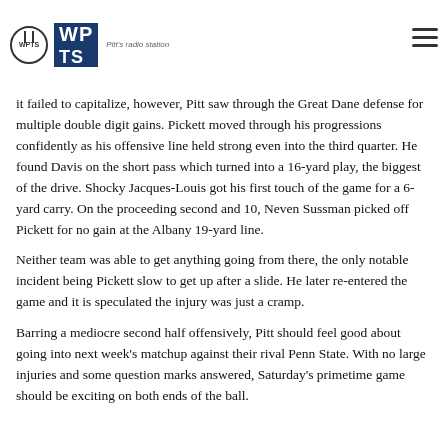WPTS 5th radio station
it failed to capitalize, however, Pitt saw through the Great Dane defense for multiple double digit gains. Pickett moved through his progressions confidently as his offensive line held strong even into the third quarter. He found Davis on the short pass which turned into a 16-yard play, the biggest of the drive. Shocky Jacques-Louis got his first touch of the game for a 6-yard carry. On the proceeding second and 10, Neven Sussman picked off Pickett for no gain at the Albany 19-yard line.
Neither team was able to get anything going from there, the only notable incident being Pickett slow to get up after a slide. He later re-entered the game and it is speculated the injury was just a cramp.
Barring a mediocre second half offensively, Pitt should feel good about going into next week’s matchup against their rival Penn State. With no large injuries and some question marks answered, Saturday’s primetime game should be exciting on both ends of the ball.